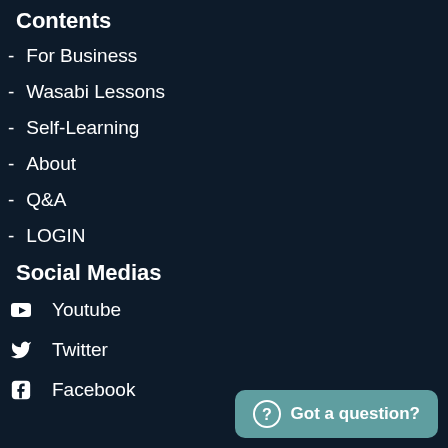Contents
For Business
Wasabi Lessons
Self-Learning
About
Q&A
LOGIN
Social Medias
Youtube
Twitter
Facebook
Got a question?